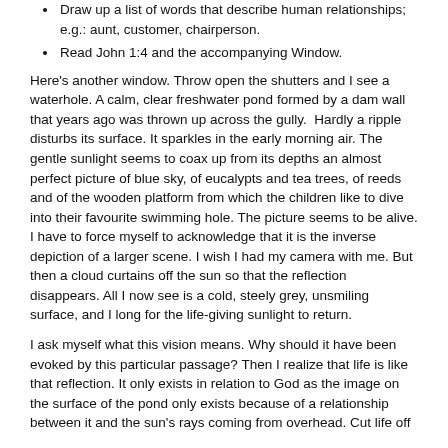Draw up a list of words that describe human relationships; e.g.: aunt, customer, chairperson.
Read John 1:4 and the accompanying Window.
Here's another window. Throw open the shutters and I see a waterhole. A calm, clear freshwater pond formed by a dam wall that years ago was thrown up across the gully.  Hardly a ripple disturbs its surface. It sparkles in the early morning air. The gentle sunlight seems to coax up from its depths an almost perfect picture of blue sky, of eucalypts and tea trees, of reeds and of the wooden platform from which the children like to dive into their favourite swimming hole. The picture seems to be alive. I have to force myself to acknowledge that it is the inverse depiction of a larger scene. I wish I had my camera with me. But then a cloud curtains off the sun so that the reflection disappears. All I now see is a cold, steely grey, unsmiling surface, and I long for the life-giving sunlight to return.
I ask myself what this vision means. Why should it have been evoked by this particular passage? Then I realize that life is like that reflection. It only exists in relation to God as the image on the surface of the pond only exists because of a relationship between it and the sun's rays coming from overhead. Cut life off